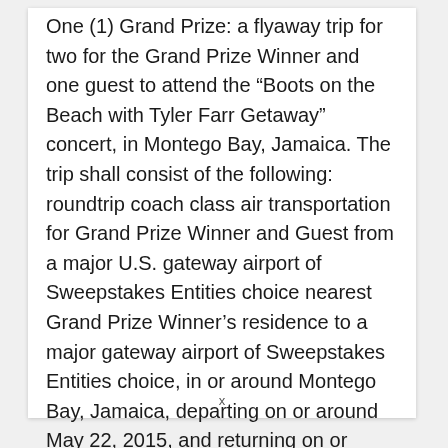One (1) Grand Prize: a flyaway trip for two for the Grand Prize Winner and one guest to attend the “Boots on the Beach with Tyler Farr Getaway” concert, in Montego Bay, Jamaica. The trip shall consist of the following: roundtrip coach class air transportation for Grand Prize Winner and Guest from a major U.S. gateway airport of Sweepstakes Entities choice nearest Grand Prize Winner’s residence to a major gateway airport of Sweepstakes Entities choice, in or around Montego Bay, Jamaica, departing on or around May 22, 2015, and returning on or around May 26, 2015 (provided that Sweepstakes Entities reserve the right to
x